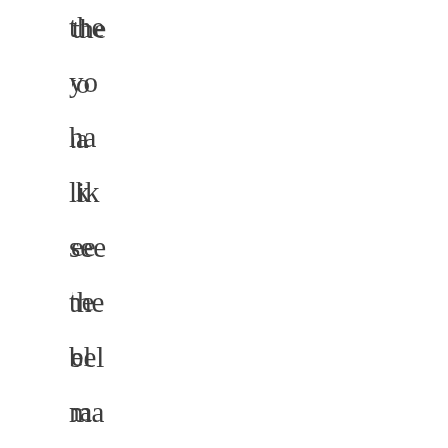the you hav lik see the bel ma are wo wa aga - - - - - He are the
- -
- -
-
He are the